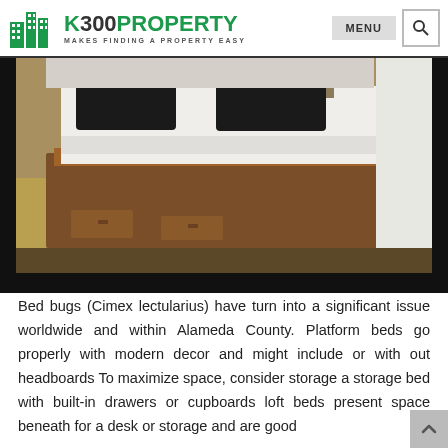K300PROPERTY MAKES FINDING A PROPERTY EASY
[Figure (photo): Platform bed with wooden base and storage drawers beneath, white mattress with dark pillows, on a yellow rug near white curtains]
Bed bugs (Cimex lectularius) have turn into a significant issue worldwide and within Alameda County. Platform beds go properly with modern decor and might include or with out headboards To maximize space, consider storage a storage bed with built-in drawers or cupboards loft beds present space beneath for a desk or storage and are good